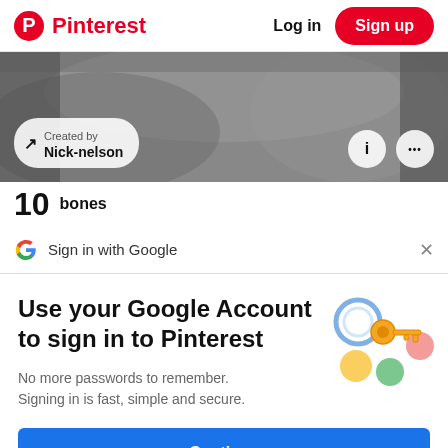Pinterest  Log in  Sign up
[Figure (screenshot): Black and white banner image with 'Created by Nick-nelson' overlay badge and info/more icons]
10  bones
Sign in with Google  ×
Use your Google Account to sign in to Pinterest
No more passwords to remember. Signing in is fast, simple and secure.
[Figure (illustration): Google key illustration with colorful circles]
Continue